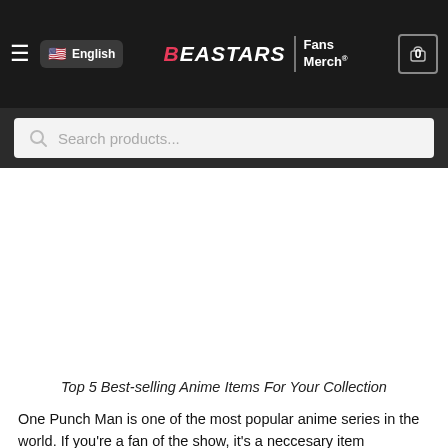BEASTARS Fans Merch®
Search products...
Top 5 Best-selling Anime Items For Your Collection
One Punch Man is one of the most popular anime series in the world. If you're a fan of the show, it's a neccesary item